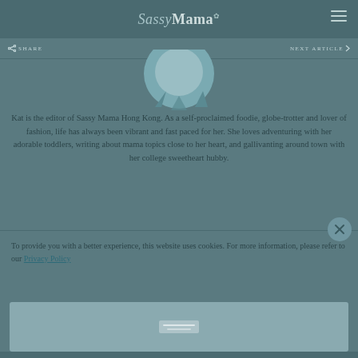Sassy Mama
[Figure (logo): Sassy Mama website logo in teal/grey color scheme with stylized script and sans-serif text]
< SHARE
NEXT ARTICLE >
[Figure (photo): Partial circular avatar/profile image at top, teal colored illustration showing bottom portion]
Kat is the editor of Sassy Mama Hong Kong. As a self-proclaimed foodie, globe-trotter and lover of fashion, life has always been vibrant and fast paced for her. She loves adventuring with her adorable toddlers, writing about mama topics close to her heart, and gallivanting around town with her college sweetheart hubby.
To provide you with a better experience, this website uses cookies. For more information, please refer to our Privacy Policy
[Figure (other): Grey/teal rounded rectangle banner area at bottom, partially showing an image or advertisement placeholder]